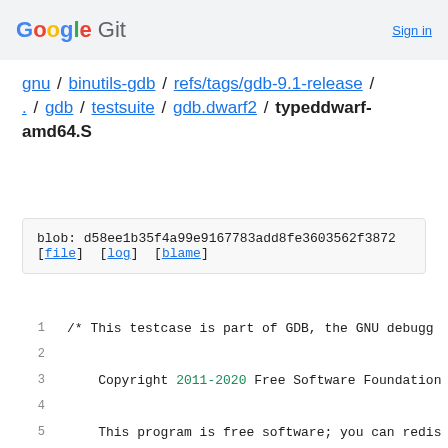Google Git   Sign in
gnu / binutils-gdb / refs/tags/gdb-9.1-release / . / gdb / testsuite / gdb.dwarf2 / typeddwarf-amd64.S
blob: d58ee1b35f4a99e9167783add8fe3603562f3872
[file] [log] [blame]
1   /* This testcase is part of GDB, the GNU debugg
2
3       Copyright 2011-2020 Free Software Foundation
4
5       This program is free software; you can redis
6       it under the terms of the GNU General Public
7       the Free Software Foundation; either version
8       (at your option) any later version.
9
10      This program is distributed in the hope that